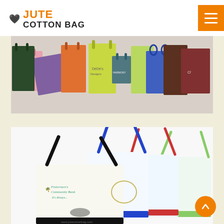JUTE COTTON BAG
[Figure (photo): Multiple colorful paper shopping bags in various colors including pink, purple, dark green, orange, yellow, teal, blue, brown, and dark red/maroon, arranged in a group photo]
[Figure (photo): Four white canvas tote bags with colored handles and trim – one with black handles, one with blue handles, one with red handles, and one with green handles. The front bag has a Fishermen's Community Bank logo printed on it. Website URL www.jutecottonbag.com visible at bottom.]